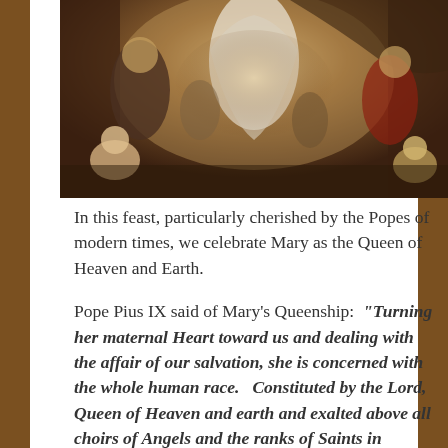[Figure (photo): Baroque-style religious painting showing figures in dramatic composition with robes, likely depicting a heavenly scene, partially visible at top of page.]
In this feast, particularly cherished by the Popes of modern times, we celebrate Mary as the Queen of Heaven and Earth.
Pope Pius IX said of Mary's Queenship: “Turning her maternal Heart toward us and dealing with the affair of our salvation, she is concerned with the whole human race.   Constituted by the Lord, Queen of Heaven and earth and exalted above all choirs of Angels and the ranks of Saints in Heaven, standing at the right hand of Her only-begotten Son, Our Lord Jesus Christ, she petitions most powerfully with Her maternal prayers and she obtains what she seeks.”